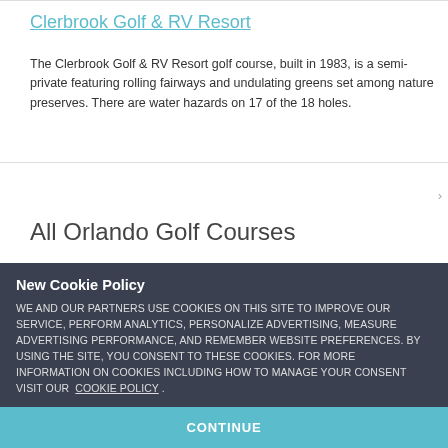Clerbrook Golf & RV Resort
The Clerbrook Golf & RV Resort golf course, built in 1983, is a semi-private featuring rolling fairways and undulating greens set among nature preserves. There are water hazards on 17 of the 18 holes.
All Orlando Golf Courses
New Cookie Policy
WE AND OUR PARTNERS USE COOKIES ON THIS SITE TO IMPROVE OUR SERVICE, PERFORM ANALYTICS, PERSONALIZE ADVERTISING, MEASURE ADVERTISING PERFORMANCE, AND REMEMBER WEBSITE PREFERENCES. BY USING THE SITE, YOU CONSENT TO THESE COOKIES. FOR MORE INFORMATION ON COOKIES INCLUDING HOW TO MANAGE YOUR CONSENT VISIT OUR COOKIE POLICY .
CONTINUE